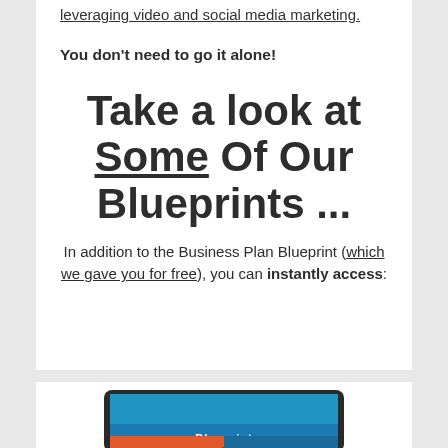leveraging video and social media marketing.
You don't need to go it alone!
Take a look at Some Of Our Blueprints ...
In addition to the Business Plan Blueprint (which we gave you for free), you can instantly access:
[Figure (illustration): Tablet device showing a Blueprint screen with blue and red/orange color bands at the bottom]